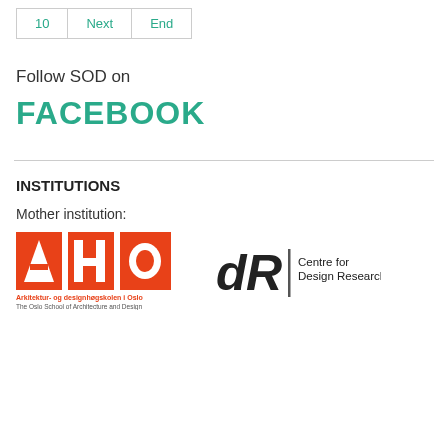| 10 | Next | End |
| --- | --- | --- |
Follow SOD on
FACEBOOK
INSTITUTIONS
Mother institution:
[Figure (logo): AHO logo - Arkitektur- og designhøgskolen i Oslo / The Oslo School of Architecture and Design]
[Figure (logo): dR Centre for Design Research logo]